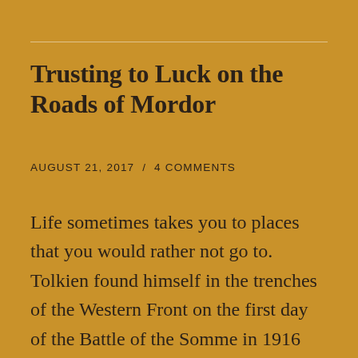Trusting to Luck on the Roads of Mordor
AUGUST 21, 2017  /  4 COMMENTS
Life sometimes takes you to places that you would rather not go to. Tolkien found himself in the trenches of the Western Front on the first day of the Battle of the Somme in 1916 when nearly 20,000 British soldiers